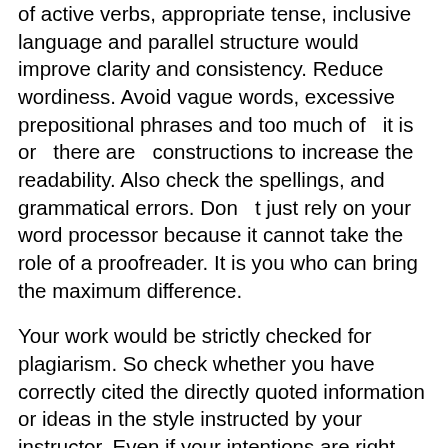of active verbs, appropriate tense, inclusive language and parallel structure would improve clarity and consistency. Reduce wordiness. Avoid vague words, excessive prepositional phrases and too much of  it is  or  there are  constructions to increase the readability. Also check the spellings, and grammatical errors. Don  t just rely on your word processor because it cannot take the role of a proofreader. It is you who can bring the maximum difference.
Your work would be strictly checked for plagiarism. So check whether you have correctly cited the directly quoted information or ideas in the style instructed by your instructor. Even if your intentions are right you might be blamed for plagiarism if you have not incorporated the correct citation style.
You might come across certain information that